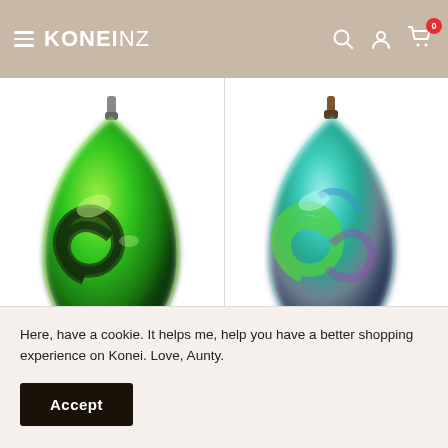KONEI NZ — navigation header with logo, search, account, and cart icons
[Figure (photo): Green teardrop shaped glass pendant with a mystic wave spiral pattern in green and black, hanging from a silver bail, on white background]
Green Teardrop Mystic Wave Pendant
[Figure (photo): Turquoise and multicolor teardrop shaped glass pendant with a mystic wave spiral pattern in teal, green, blue and purple, hanging from a brown bail, on white background]
Turquoise Teardrop Wave Pendant
Here, have a cookie. It helps me, help you have a better shopping experience on Konei. Love, Aunty.
Accept